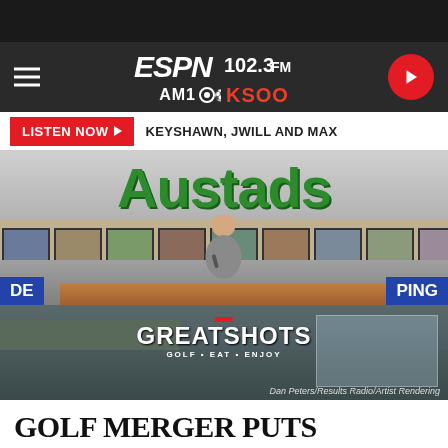ESPN 102.3 FM AM 1000 KSOO
LISTEN NOW ▶  KEYSHAWN, JWILL AND MAX
[Figure (photo): Austads sporting goods store interior with large green illuminated sign and a man speaking into a microphone in front of framed pictures on the wall. Blue banners show 'DE' on left and 'PING' on right.]
[Figure (photo): Great Shots Golf venue artist rendering exterior with sign reading GREATSHOTS GOLF • EAT • ENJOY. Photo credit: Dan Peters/Results Radio/Artist Rendering]
Dan Peters/Results Radio/Artist Rendering
GOLF MERGER PUTS SANFORD